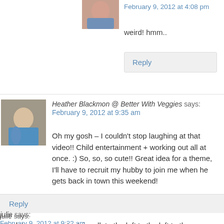February 9, 2012 at 4:08 pm
weird! hmm..
Reply
Heather Blackmon @ Better With Veggies says:
February 9, 2012 at 9:35 am
Oh my gosh – I couldn't stop laughing at that video!! Child entertainment + working out all at once. :) So, so, so cute!! Great idea for a theme, I'll have to recruit my hubby to join me when he gets back in town this weekend!
Three things: powder, deodorant, & soap?
Reply
julie says:
February 9, 2012 at 9:22 am
now let me see you tootsie roll. to the left to the left to the